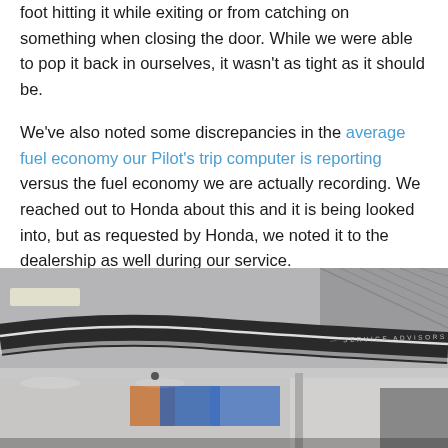foot hitting it while exiting or from catching on something when closing the door. While we were able to pop it back in ourselves, it wasn't as tight as it should be.

We've also noted some discrepancies in the average fuel economy our Pilot's trip computer is reporting versus the fuel economy we are actually recording. We reached out to Honda about this and it is being looked into, but as requested by Honda, we noted it to the dealership as well during our service.
[Figure (photo): Interior photo of a Honda dealership service department showing the ceiling with a curved dark architectural element labeled 'SERVICE ADVISORS', ceiling lights, and a large open showroom area visible in the background.]